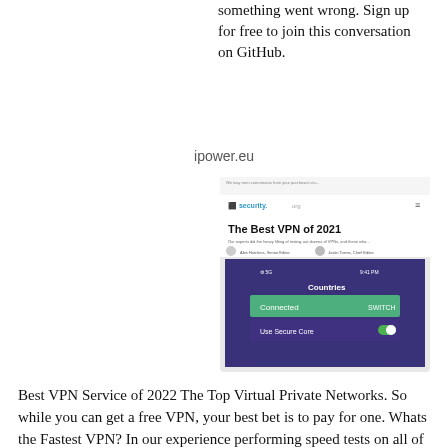something went wrong. Sign up for free to join this conversation on GitHub.
ipower.eu
[Figure (screenshot): Screenshot of a webpage titled 'The Best VPN of 2021' on security.org showing a VPN app interface with Countries list, Connected status, and Use Secure Core toggle.]
Best VPN Service of 2022 The Top Virtual Private Networks. So while you can get a free VPN, your best bet is to pay for one. Whats the Fastest VPN? In our experience performing speed tests on all of our VPNs, the fastest options were.: IPVanish: We saw super quick download speeds with IPVanish.